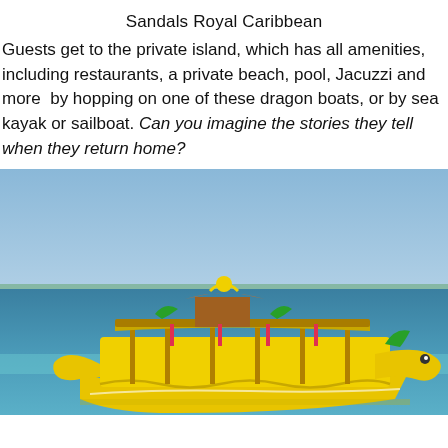Sandals Royal Caribbean
Guests get to the private island, which has all amenities, including restaurants, a private beach, pool, Jacuzzi and more  by hopping on one of these dragon boats, or by sea kayak or sailboat. Can you imagine the stories they tell when they return home?
[Figure (photo): A brightly painted yellow dragon boat with ornate decorations floating on blue-green ocean water, with a blue sky and distant shoreline in the background.]